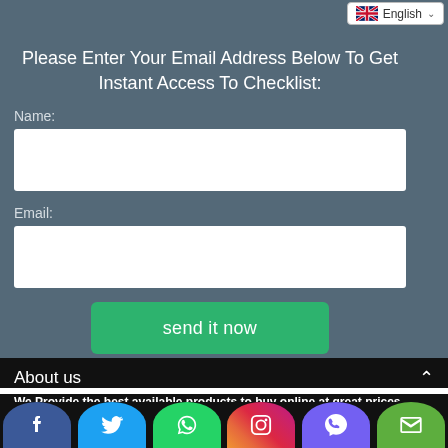[Figure (screenshot): Language selector dropdown showing UK flag and English text with chevron]
Please Enter Your Email Address Below To Get Instant Access To Checklist:
Name:
[Figure (other): Name text input field (empty white box)]
Email:
[Figure (other): Email text input field (empty white box)]
[Figure (other): Green 'send it now' button]
About us
We Provide the best available products to buy online at great prices.
[Figure (other): Social media icon bar: Facebook, Twitter, WhatsApp, Instagram, Viber, Email]